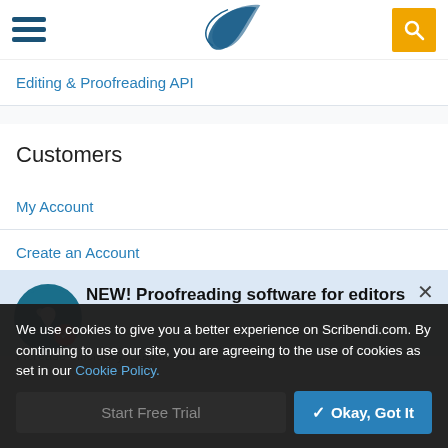[Figure (logo): Scribendi feather logo in dark teal/blue]
Editing & Proofreading API
Customers
My Account
Create an Account
[Figure (screenshot): Popup banner: NEW! Proofreading software for editors with Scribendi bird icon and close button]
NEW! Proofreading software for editors
We use cookies to give you a better experience on Scribendi.com. By continuing to use our site, you are agreeing to the use of cookies as set in our Cookie Policy.
Start Free Trial
Okay, Got It